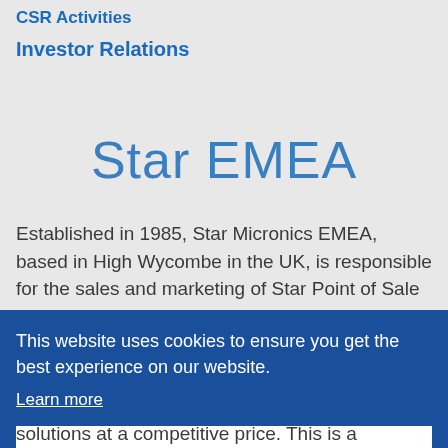CSR Activities
Investor Relations
Star EMEA
Established in 1985, Star Micronics EMEA, based in High Wycombe in the UK, is responsible for the sales and marketing of Star Point of Sale Printers and accessories across
This website uses cookies to ensure you get the best experience on our website.
Learn more
Accept
solutions at a competitive price. This is a